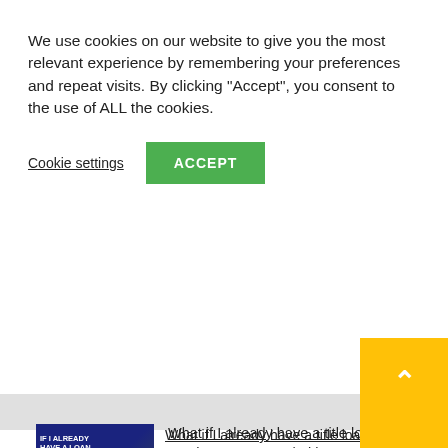We use cookies on our website to give you the most relevant experience by remembering your preferences and repeat visits. By clicking "Accept", you consent to the use of ALL the cookies.
Cookie settings
ACCEPT
What if I already have a title loan with another company? | TitleMax FAQ
TitleMax wants to help you no matter what your [...]
The 4 Tallest Street Legal Vehicles #shorts
In an industry that's ruled by regulation, it can be [...]
What's a Flexible Line of Credit? | TitleMax FAQ